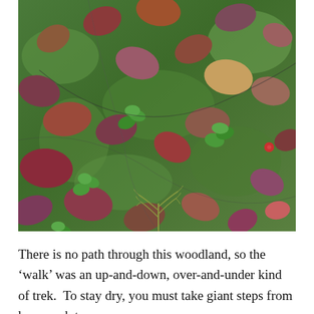[Figure (photo): Close-up photograph of a woodland forest floor covered with fallen autumn leaves in shades of red, brown, purple, and yellow scattered over bright green moss, with small green plants and ferns visible among the leaves.]
There is no path through this woodland, so the ‘walk’ was an up-and-down, over-and-under kind of trek.  To stay dry, you must take giant steps from hummock to